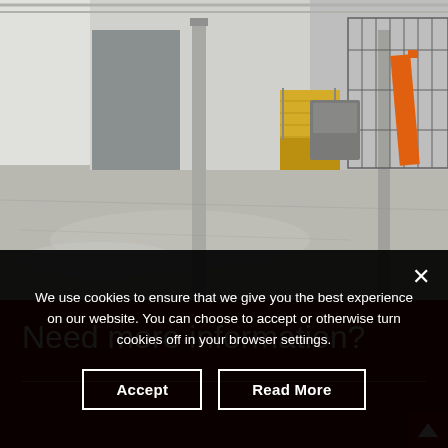[Figure (photo): Interior of a warehouse with polished concrete floor, metal support columns, yellow stairs in the background, metal fencing/shelving on the right, and orange equipment visible on the right side.]
Need more information?
We use cookies to ensure that we give you the best experience on our website. You can choose to accept or otherwise turn cookies off in your browser settings.